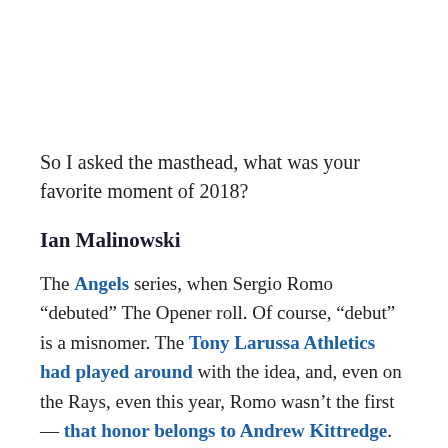So I asked the masthead, what was your favorite moment of 2018?
Ian Malinowski
The Angels series, when Sergio Romo “debuted” The Opener roll. Of course, “debut” is a misnomer. The Tony Larussa Athletics had played around with the idea, and, even on the Rays, even this year, Romo wasn’t the first — that honor belongs to Andrew Kittredge. But no one pays attention to what middle relievers on bad teams are doing. The rest of the baseball world already knew who Sergio Romo was, so